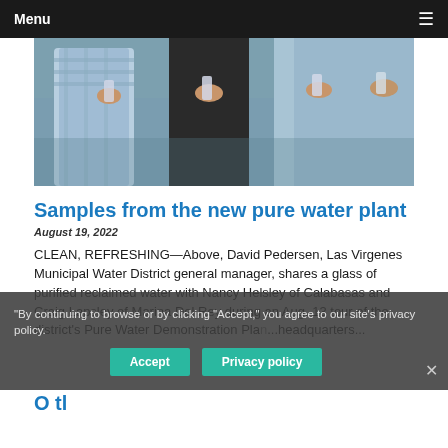Menu
[Figure (photo): People holding glasses of water at a water plant tour event]
Samples from the new pure water plant
August 19, 2022
CLEAN, REFRESHING—Above, David Pedersen, Las Virgenes Municipal Water District general manager, shares a glass of purified reclaimed water with Nancy Helsley of Calabasas and Craig Lapsley of Marina Del Rey during an Aug. 13 tour of the district's Pure Water Demonstration Plan...headquarters...
By continuing to browse or by clicking "Accept," you agree to our site's privacy policy.